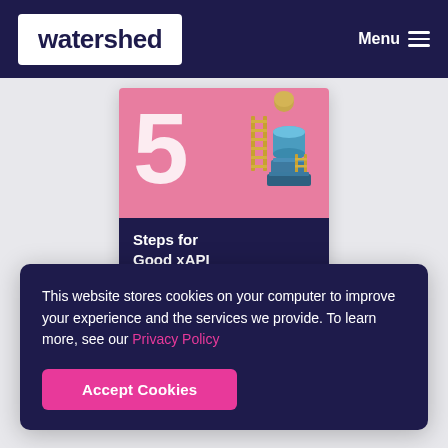watershed  Menu
[Figure (illustration): Book cover showing '5 Steps for Good xAPI Governance' with a pink section showing a large white '5' and 3D geometric shapes (cylinders, ladders) and a dark navy section with the title text in white bold font.]
This website stores cookies on your computer to improve your experience and the services we provide. To learn more, see our Privacy Policy
Accept Cookies